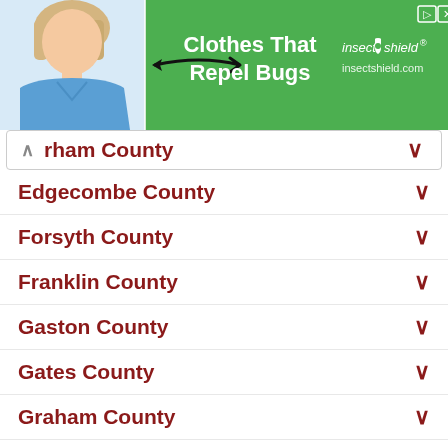[Figure (illustration): Advertisement banner with green background showing a woman in blue shirt, arrow pointing to her shirt, text 'Clothes That Repel Bugs' and 'insect shield' brand logo with shield icon]
rham County (expanded, caret up)
Edgecombe County
Forsyth County
Franklin County
Gaston County
Gates County
Graham County
Granville County
Greene County
Guilford County
Halifax County